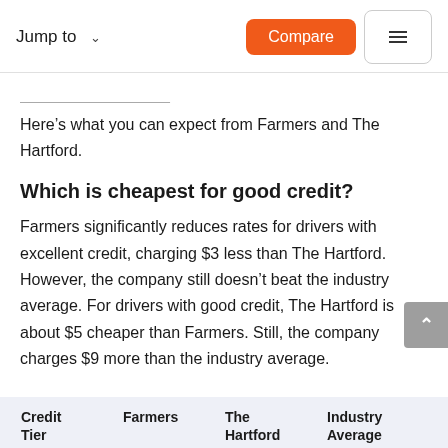Jump to   Compare
Here’s what you can expect from Farmers and The Hartford.
Which is cheapest for good credit?
Farmers significantly reduces rates for drivers with excellent credit, charging $3 less than The Hartford. However, the company still doesn’t beat the industry average. For drivers with good credit, The Hartford is about $5 cheaper than Farmers. Still, the company charges $9 more than the industry average.
| Credit Tier | Farmers | The Hartford | Industry Average |
| --- | --- | --- | --- |